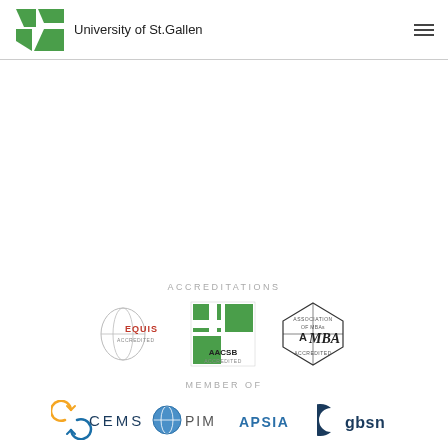University of St.Gallen
ACCREDITATIONS
[Figure (logo): EQUIS Accredited logo]
[Figure (logo): AACSB Accredited logo]
[Figure (logo): Association of MBAs Accredited logo]
MEMBER OF
[Figure (logo): CEMS logo]
[Figure (logo): PIM logo]
[Figure (logo): APSIA logo]
[Figure (logo): gbsn logo]